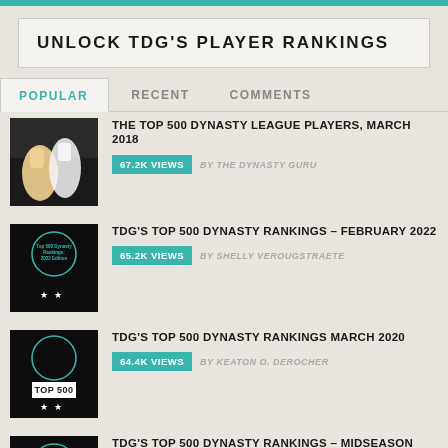UNLOCK TDG'S PLAYER RANKINGS
POPULAR | RECENT | COMMENTS
THE TOP 500 DYNASTY LEAGUE PLAYERS, MARCH 2018
67.2K VIEWS  BY THE DYNASTY GURU
TDG'S TOP 500 DYNASTY RANKINGS – FEBRUARY 2022
65.2K VIEWS  BY SHELLY VEROUGSTRAETE
TDG'S TOP 500 DYNASTY RANKINGS MARCH 2020
64.4K VIEWS  BY KEATON O. DEROCHER
TDG'S TOP 500 DYNASTY RANKINGS – MIDSEASON UPDATE JULY 2021